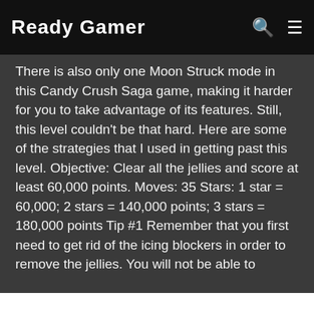Ready Gamer
There is also only one Moon Struck mode in this Candy Crush Saga game, making it harder for you to take advantage of its features. Still, this level couldn't be that hard. Here are some of the strategies that I used in getting past this level. Objective: Clear all the jellies and score at least 60,000 points. Moves: 35 Stars: 1 star = 60,000; 2 stars = 140,000 points; 3 stars = 180,000 points Tip #1 Remember that you first need to get rid of the icing blockers in order to remove the jellies. You will not be able to